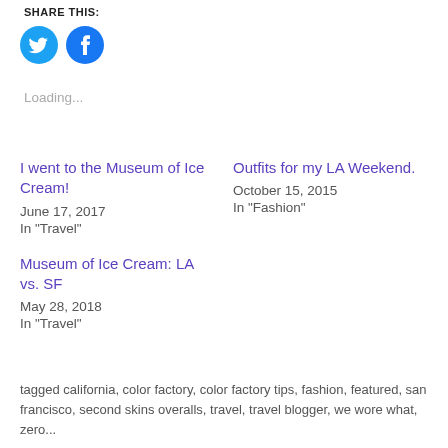SHARE THIS:
[Figure (illustration): Twitter and Facebook circular share buttons]
Loading...
I went to the Museum of Ice Cream!
June 17, 2017
In "Travel"
Outfits for my LA Weekend.
October 15, 2015
In "Fashion"
Museum of Ice Cream: LA vs. SF
May 28, 2018
In "Travel"
tagged california, color factory, color factory tips, fashion, featured, san francisco, second skins overalls, travel, travel blogger, we wore what, zero...